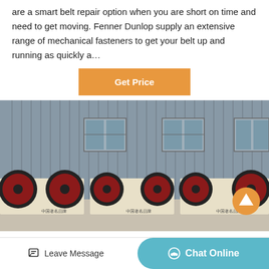are a smart belt repair option when you are short on time and need to get moving. Fenner Dunlop supply an extensive range of mechanical fasteners to get your belt up and running as quickly a…
Get Price
[Figure (photo): Industrial machinery — multiple jaw crushers lined up inside a large factory building with grey corrugated metal walls and windows. Each crusher unit is cream/white colored with large black and dark red flywheels. Chinese text '中国著名品牌' (Chinese Famous Brand) visible on machines.]
Leave Message
Chat Online